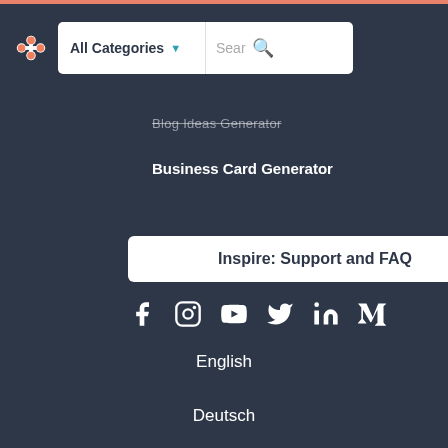[Figure (screenshot): HubSpot navigation bar with logo, All Categories dropdown, and Search input]
Blog Ideas Generator
Business Card Generator
Inspire: Support and FAQ
[Figure (illustration): Social media icons: Facebook, Instagram, YouTube, Twitter, LinkedIn, Medium]
English
Deutsch
[Figure (other): Small icon or flag symbol]